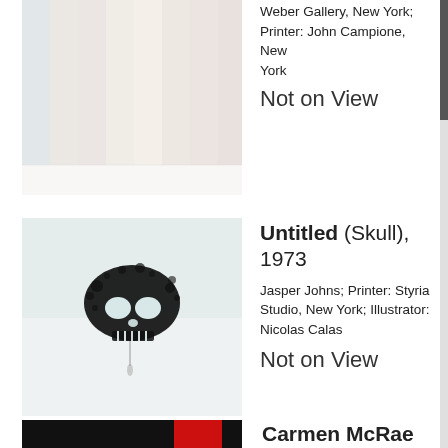[Figure (photo): Partial view of a pastel-colored striped artwork, appears to be a print with soft vertical color bands]
Weber Gallery, New York; Printer: John Campione, New York
Not on View
[Figure (photo): Artwork titled Untitled (Skull), 1973 by Jasper Johns. Shows a dark ink splatter skull motif on a light gray/white background with a drip below.]
Untitled (Skull), 1973
Jasper Johns; Printer: Styria Studio, New York; Illustrator: Nicolas Calas
Not on View
[Figure (photo): Partial bottom strip of an artwork showing dark black and red elements, partially visible]
Carmen McRae